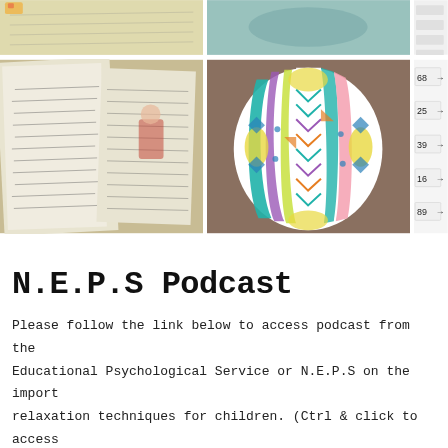[Figure (photo): Top row of three photos: handwriting/math worksheet, blue textured background, partial math numbers]
[Figure (photo): Middle row of three photos: handwritten notebook pages, decorated Easter egg with colorful geometric patterns, partial math worksheet with numbers 68, 25, 39, 16, 89]
N.E.P.S Podcast
Please follow the link below to access podcast from the Educational Psychological Service or N.E.P.S on the import relaxation techniques for children. (Ctrl & click to access
https://soundcloud.com/user-719669409/relaxatio 03-2020